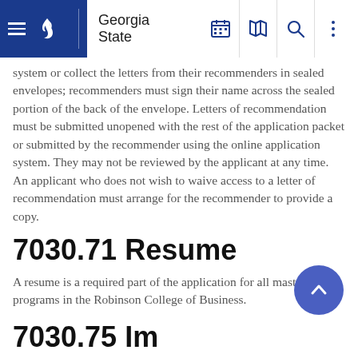Georgia State
system or collect the letters from their recommenders in sealed envelopes; recommenders must sign their name across the sealed portion of the back of the envelope. Letters of recommendation must be submitted unopened with the rest of the application packet or submitted by the recommender using the online application system. They may not be reviewed by the applicant at any time. An applicant who does not wish to waive access to a letter of recommendation must arrange for the recommender to provide a copy.
7030.71 Resume
A resume is a required part of the application for all master's-level programs in the Robinson College of Business.
7030.75 Immunization